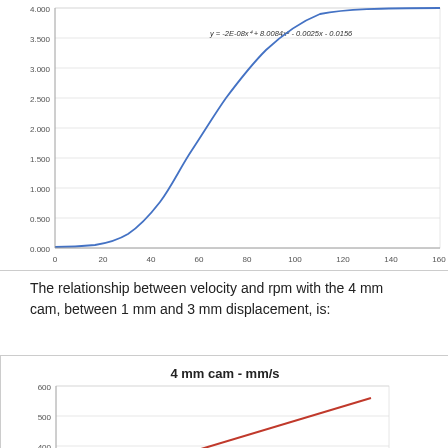[Figure (continuous-plot): S-shaped curve (sigmoid/polynomial) showing displacement vs rpm. Y-axis from 0.000 to 4.000, X-axis from 0 to ~160+. Equation label: y = -2E-08x^4 + 8.0084x^2 - 0.0025x - 0.0156]
The relationship between velocity and rpm with the 4 mm cam, between 1 mm and 3 mm displacement, is:
[Figure (line-chart): Partial view of line chart titled '4 mm cam - mm/s'. Y-axis visible from ~400 to 600. A red diagonal line is visible rising from lower left to upper right. X-axis and lower portion cut off at page bottom.]